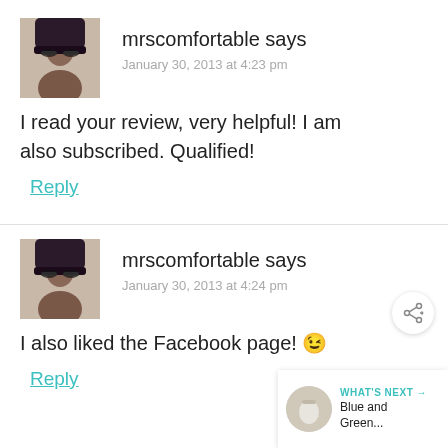[Figure (photo): Avatar photo of mrscomfortable - woman with dark hair and sunglasses]
mrscomfortable says
January 30, 2013 at 4:23 pm
I read your review, very helpful! I am also subscribed. Qualified!
Reply
[Figure (photo): Avatar photo of mrscomfortable - woman with dark hair and sunglasses]
mrscomfortable says
January 30, 2013 at 4:24 pm
I also liked the Facebook page! 🙂
Reply
[Figure (other): Share button (circle with share icon)]
[Figure (other): What's Next panel with image of a cup and text 'Blue and Green...']